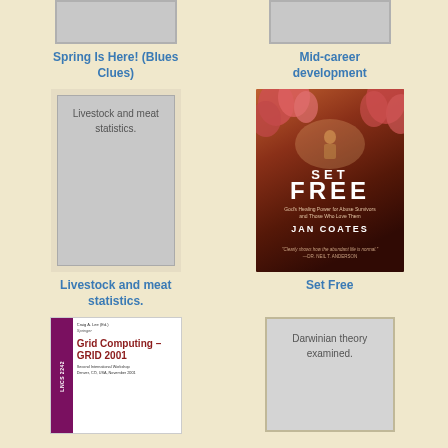[Figure (photo): Book cover placeholder (gray) for Spring Is Here! (Blues Clues) - partially visible at top]
Spring Is Here! (Blues Clues)
[Figure (photo): Book cover placeholder (gray) for Mid-career development - partially visible at top]
Mid-career development
[Figure (photo): Book cover placeholder with text 'Livestock and meat statistics.' inside a bordered gray rectangle]
Livestock and meat statistics.
[Figure (photo): Book cover for 'Set Free' by Jan Coates - dark warm-toned cover with flowers and white title text]
Set Free
[Figure (photo): Book cover for 'Grid Computing - GRID 2001' with purple spine and red title text, edited by Craig A. Lee]
[Figure (photo): Book cover placeholder with text 'Darwinian theory examined.']